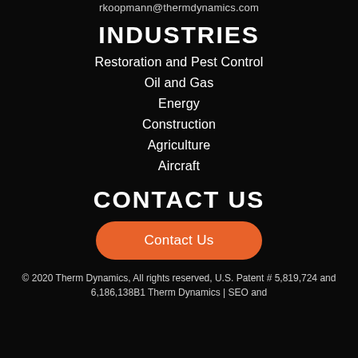rkoopmann@thermdynamics.com
INDUSTRIES
Restoration and Pest Control
Oil and Gas
Energy
Construction
Agriculture
Aircraft
CONTACT US
Contact Us
© 2020 Therm Dynamics, All rights reserved, U.S. Patent # 5,819,724 and 6,186,138B1 Therm Dynamics | SEO and